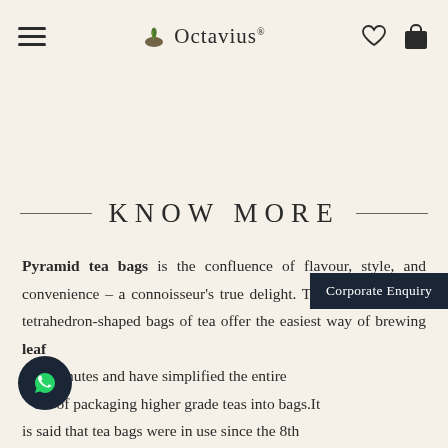Octavius
KNOW MORE
Pyramid tea bags is the confluence flavour, style, and convenience – a connoisseur's true delight. The sealed, porous, tetrahedron-shaped bags of tea offer the easiest way of brewing leaf in minutes and have simplified the entire ess of packaging higher grade teas into bags. It is said that tea bags were in use since the 8th